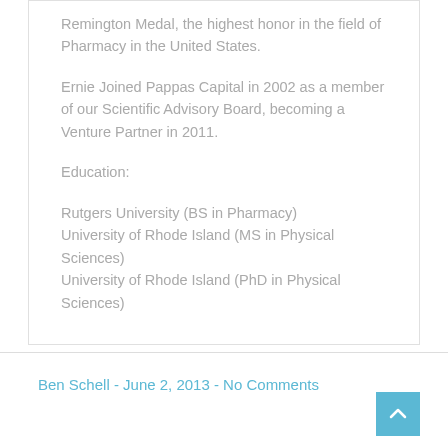Remington Medal, the highest honor in the field of Pharmacy in the United States.
Ernie Joined Pappas Capital in 2002 as a member of our Scientific Advisory Board, becoming a Venture Partner in 2011.
Education:
Rutgers University (BS in Pharmacy)
University of Rhode Island (MS in Physical Sciences)
University of Rhode Island (PhD in Physical Sciences)
Ben Schell - June 2, 2013 - No Comments